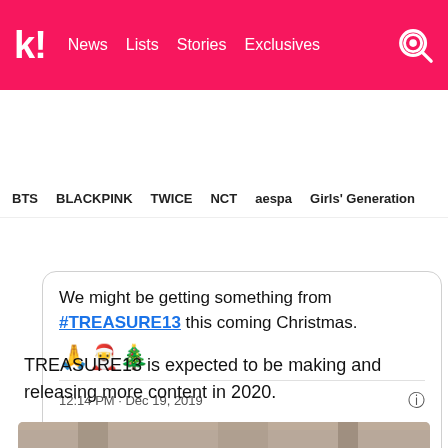k! News Lists Stories Exclusives
BTS BLACKPINK TWICE NCT aespa Girls' Generation
We might be getting something from #TREASURE13 this coming Christmas. 🙏🎅🎄
12:14 PM · Dec 19, 2019
❤ 310   💬 Reply   🔗 Copy link
Read 5 replies
TREASURE13 is expected to be making and releasing more content in 2020.
[Figure (photo): Bottom image strip partially visible at the bottom of the page]